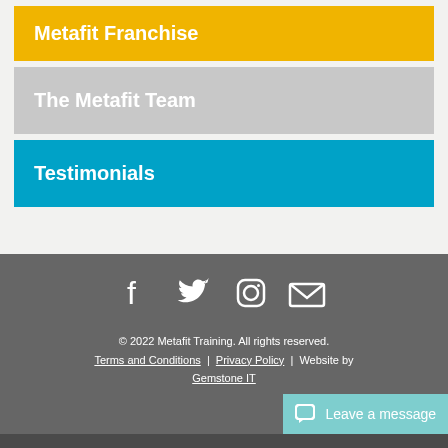Metafit Franchise
The Metafit Team
Testimonials
[Figure (infographic): Social media icons: Facebook, Twitter, Instagram, and email/envelope icons in white]
© 2022 Metafit Training. All rights reserved. Terms and Conditions | Privacy Policy | Website by Gemstone IT